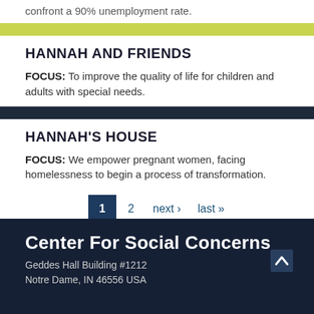confront a 90% unemployment rate.
HANNAH AND FRIENDS
FOCUS: To improve the quality of life for children and adults with special needs.
HANNAH'S HOUSE
FOCUS: We empower pregnant women, facing homelessness to begin a process of transformation.
1  2  next ›  last »
Center For Social Concerns
Geddes Hall Building #1212
Notre Dame, IN 46556 USA